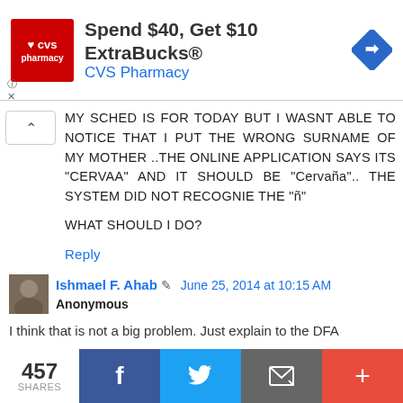[Figure (screenshot): CVS Pharmacy advertisement banner: logo on left, 'Spend $40, Get $10 ExtraBucks® CVS Pharmacy' text in center, navigation icon on right]
MY SCHED IS FOR TODAY BUT I WASNT ABLE TO NOTICE THAT I PUT THE WRONG SURNAME OF MY MOTHER ..THE ONLINE APPLICATION SAYS ITS "CERVAA" AND IT SHOULD BE "Cervaña".. THE SYSTEM DID NOT RECOGNIE THE "ñ"
WHAT SHOULD I DO?
Reply
Ishmael F. Ahab  June 25, 2014 at 10:15 AM
Anonymous
I think that is not a big problem. Just explain to the DFA
457 SHARES